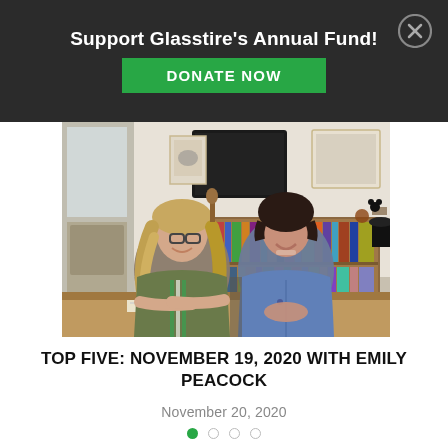Support Glasstire's Annual Fund!
DONATE NOW
[Figure (photo): Two women smiling and sitting at a wooden desk in a home office/studio setting. The woman on the left has long wavy hair and glasses, wearing a green jacket. The woman on the right has short dark hair, wearing a denim jacket. Bookshelves, framed artwork, and a flat screen TV visible in the background.]
TOP FIVE: NOVEMBER 19, 2020 WITH EMILY PEACOCK
November 20, 2020